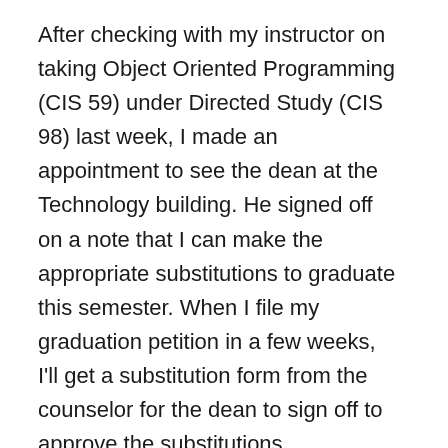After checking with my instructor on taking Object Oriented Programming (CIS 59) under Directed Study (CIS 98) last week, I made an appointment to see the dean at the Technology building. He signed off on a note that I can make the appropriate substitutions to graduate this semester. When I file my graduation petition in a few weeks, I'll get a substitution form from the counselor for the dean to sign off to approve the substitutions.
I made my first trip across campus to Admission & Records to sign up for the CIS 98 class to get that out of the way since was the